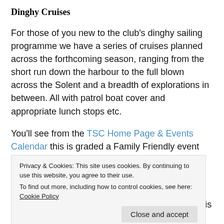Dinghy Cruises
For those of you new to the club's dinghy sailing programme we have a series of cruises planned across the forthcoming season, ranging from the short run down the harbour to the full blown across the Solent and a breadth of explorations in between. All with patrol boat cover and appropriate lunch stops etc.
You'll see from the TSC Home Page & Events Calendar this is graded a Family Friendly event and will likely be a sail of under five miles just to shake the cobwebs from everyone's sailing skills. It's also less eventful should anyone have that
Privacy & Cookies: This site uses cookies. By continuing to use this website, you agree to their use.
To find out more, including how to control cookies, see here: Cookie Policy
Close and accept
to double check the traveller eyes he refitted to his Laser last